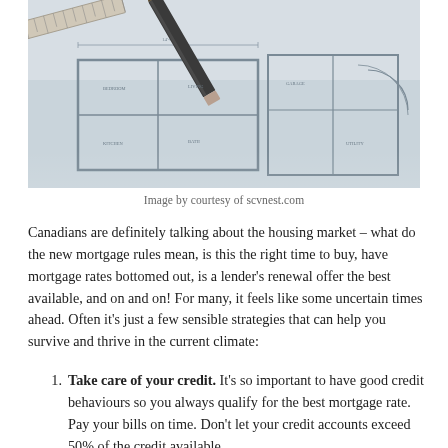[Figure (photo): Blueprint/architectural drawing with a pencil and ruler on top, showing floor plan lines and measurements.]
Image by courtesy of scvnest.com
Canadians are definitely talking about the housing market – what do the new mortgage rules mean, is this the right time to buy, have mortgage rates bottomed out, is a lender's renewal offer the best available, and on and on! For many, it feels like some uncertain times ahead. Often it's just a few sensible strategies that can help you survive and thrive in the current climate:
Take care of your credit. It's so important to have good credit behaviours so you always qualify for the best mortgage rate. Pay your bills on time. Don't let your credit accounts exceed 50% of the credit available